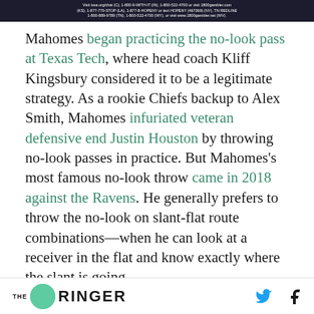Visit issa.org/chat (C), 1-800-9-WITH-IT (IN), 1-800-522-4700 or visit 1800gambler.com (KS), 1-877-770-STOP (LA), 1-877-8-HOPENY or text HOPENY (467369) (NY), TN REDLINE 1-800-889-9789 (TN), 1-800-522-4700 (WY), or visit www.1800gambler.net (WV).
Mahomes began practicing the no-look pass at Texas Tech, where head coach Kliff Kingsbury considered it to be a legitimate strategy. As a rookie Chiefs backup to Alex Smith, Mahomes infuriated veteran defensive end Justin Houston by throwing no-look passes in practice. But Mahomes’s most famous no-look throw came in 2018 against the Ravens. He generally prefers to throw the no-look on slant-flat route combinations—when he can look at a receiver in the flat and know exactly where the slant is going
THE RINGER [Twitter icon] [Facebook icon]